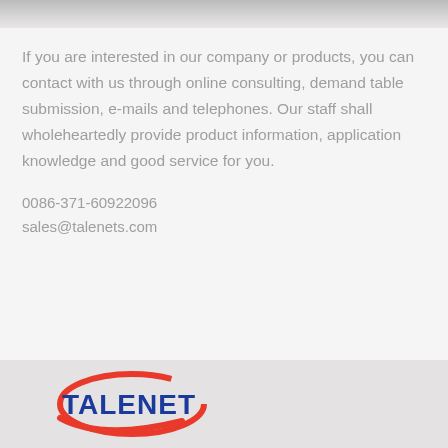[Figure (photo): Partial view of a person's photo at the top of the page, cropped]
If you are interested in our company or products, you can contact with us through online consulting, demand table submission, e-mails and telephones. Our staff shall wholeheartedly provide product information, application knowledge and good service for you.
0086-371-60922096
sales@talenets.com
[Figure (logo): TALENET company logo with red ellipse swoosh and bold blue text]
Send Message | Inquiry Online